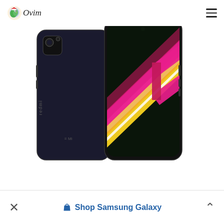[Figure (screenshot): Website screenshot showing a logo (Ovim with a parrot icon) on the top left, a hamburger menu on the top right, and a Xiaomi Redmi smartphone displayed in the center — showing both the back (black) and front (with colorful diagonal stripes wallpaper) of the device.]
Shop Samsung Galaxy